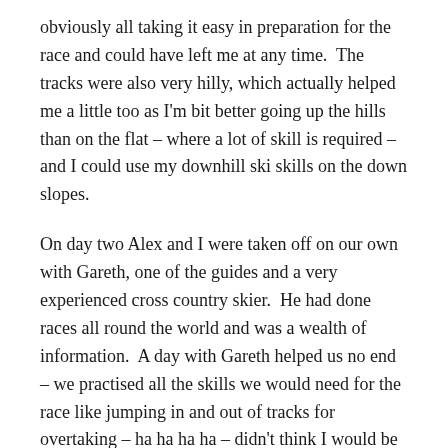obviously all taking it easy in preparation for the race and could have left me at any time.  The tracks were also very hilly, which actually helped me a little too as I'm bit better going up the hills than on the flat – where a lot of skill is required – and I could use my downhill ski skills on the down slopes.
On day two Alex and I were taken off on our own with Gareth, one of the guides and a very experienced cross country skier.  He had done races all round the world and was a wealth of information.  A day with Gareth helped us no end – we practised all the skills we would need for the race like jumping in and out of tracks for overtaking – ha ha ha ha – didn't think I would be doing much of that.  We worked on our glide and it was also very useful to understand how the skis actually worked – you need to push down on them to get them to glide.  Anyhoo, after a day with Gareth we were able to go back with the group for the next two days and get a few kilometres in our legs.  The whole group was very supportive and encouraging